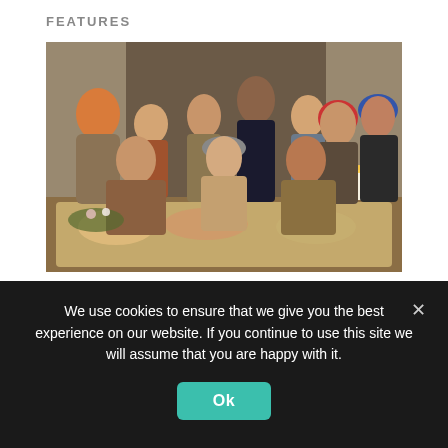FEATURES
[Figure (photo): Group photo of approximately 9 people posed around a dinner table with food, candles, and floral decorations. People are wearing winter clothing including turbans and jackets, in a warmly lit indoor setting with draped curtains in the background.]
We use cookies on our website to give you the most relevant experience by remembering your preferences
We use cookies to ensure that we give you the best experience on our website. If you continue to use this site we will assume that you are happy with it.
Ok